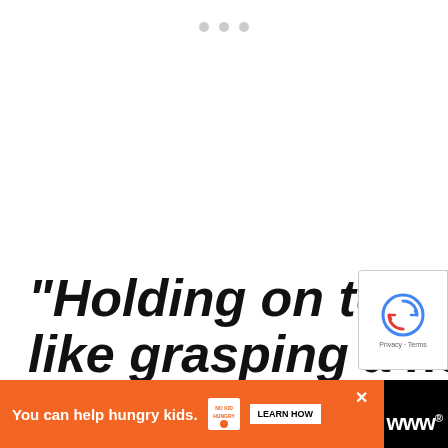[Figure (other): Three grey dots indicating a loading/navigation indicator at the top of the page]
“Holding on to anger is like grasping a hot coal with the intent of throwing it at someone
[Figure (other): ReCAPTCHA badge with blue circular arrow icon and Privacy - Terms text]
[Figure (other): Advertisement banner with orange background reading 'You can help hungry kids.' with No Kid Hungry logo and LEARN HOW button, on black background with close X button and Wunderman Thompson wordmark]